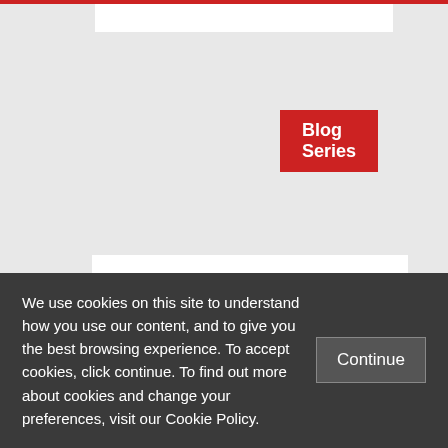Blog Series
Drivers of Russia’s Middle East Policy
We use cookies on this site to understand how you use our content, and to give you the best browsing experience. To accept cookies, click continue. To find out more about cookies and change your preferences, visit our Cookie Policy.